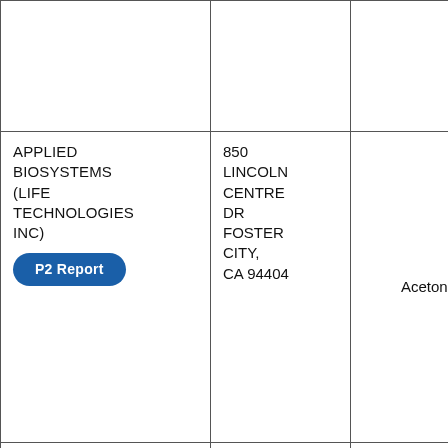| Facility Name | Address | Chemical | TRI #/Chemical Category |
| --- | --- | --- | --- |
|  |  |  |  |
| APPLIED BIOSYSTEMS (LIFE TECHNOLOGIES INC)
P2 Report | 850 LINCOLN CENTRE DR FOSTER CITY, CA 94404 | Acetonitrile | 325
Other
Org
Che
Ma |
| APPLIED BIOSYSTEMS (LIFE TECHNOLOGIES INC) | 850 LINCOLN CENTRE |  | 325
Oth |